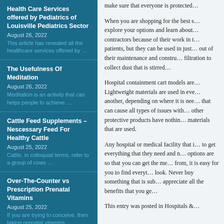Health Care Services offered by Pediatrics of Louisville Pediatrics Sector
August 26, 2022
This article has revealed all the healthcare services offered by …
The Usefulness Of Meditation
August 26, 2022
Meditation is an activity that can helps people to achieve …
Cattle Feed Supplements – Nescessary Feed For Healthy Cattle
August 25, 2022
Cattle, in colloquial terms, refer to a group of cows …
Over-The-Counter vs Prescription Prenatal Vitamins
August 25, 2022
If you are trying to conceive, then taking prenatal vitamins …
Yoga Therapy And Preventative
make sure that everyone is protected…
When you are shopping for the best s… explore your options and learn about… contractors because of their work in t… patients, but they can be used in just… out of their maintenance and constru… filtration to collect dust that is stirred…
Hospital containment cart models are… Lightweight materials are used in eve… another, depending on where it is nee… that can cause all types of issues with… other protective products have nothin… materials that are used.
Any hospital or medical facility that i… to get everything that they need and n… options are so that you can get the me… from, it is easy for you to find everyt… look. Never buy something that is sub… appreciate all the benefits that you ge…
This entry was posted in Hospitals &…